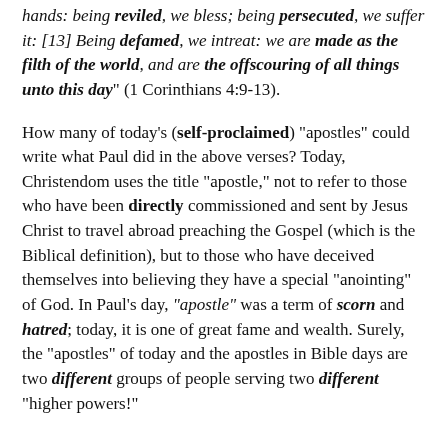hands: being reviled, we bless; being persecuted, we suffer it: [13] Being defamed, we intreat: we are made as the filth of the world, and are the offscouring of all things unto this day" (1 Corinthians 4:9-13).
How many of today's (self-proclaimed) "apostles" could write what Paul did in the above verses? Today, Christendom uses the title "apostle," not to refer to those who have been directly commissioned and sent by Jesus Christ to travel abroad preaching the Gospel (which is the Biblical definition), but to those who have deceived themselves into believing they have a special "anointing" of God. In Paul's day, "apostle" was a term of scorn and hatred; today, it is one of great fame and wealth. Surely, the "apostles" of today and the apostles in Bible days are two different groups of people serving two different "higher powers!"